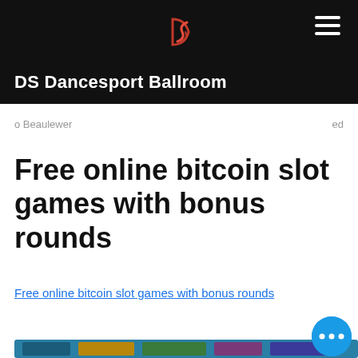DS Dancesport Ballroom
o Beaulewer
Free online bitcoin slot games with bonus rounds
Free online bitcoin slot games with bonus rounds
[Figure (screenshot): Blurred screenshot of online slot game website with colorful game thumbnails and a floating blue button with three dots]